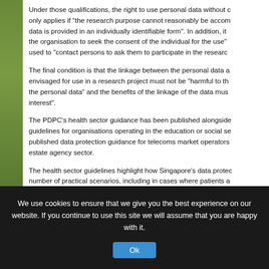Under those qualifications, the right to use personal data without consent only applies if "the research purpose cannot reasonably be accomplished if data is provided in an individually identifiable form". In addition, it requires the organisation to seek the consent of the individual for the use" and can be used to "contact persons to ask them to participate in the research".
The final condition is that the linkage between the personal data and data envisaged for use in a research project must not be "harmful to the subject of the personal data" and the benefits of the linkage of the data must be "in public interest".
The PDPC's health sector guidance has been published alongside sector-specific guidelines for organisations operating in the education or social service sector. It has published data protection guidance for telecoms market operators and for the real estate agency sector.
The health sector guidelines highlight how Singapore's data protection law applies in a number of practical scenarios, including in cases where patients are transferred from one care provider to another. It also sets out what permissions medical practitioners are deemed to have been given by patients seeking medical care and when express written consent is required to use patient data in another context.
We use cookies to ensure that we give you the best experience on our website. If you continue to use this site we will assume that you are happy with it.